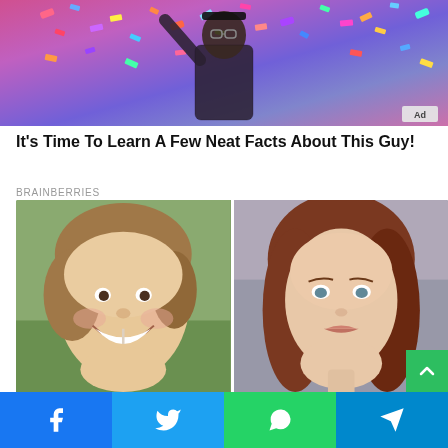[Figure (photo): Man with raised arm celebrating among colorful confetti at a large event. Ad badge visible in bottom right corner.]
It's Time To Learn A Few Neat Facts About This Guy!
BRAINBERRIES
[Figure (photo): Side-by-side comparison photos: left shows a smiling young girl with missing teeth, right shows a young woman with auburn hair.]
[Figure (infographic): Social sharing bar with Facebook, Twitter, WhatsApp, and Telegram buttons at the bottom of the page.]